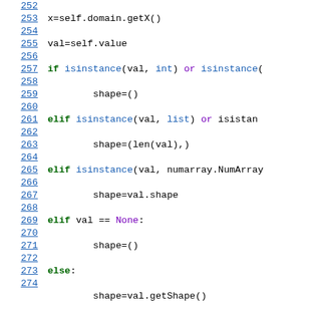Source code listing lines 252-274 showing Python code for shape detection and constraint assignment.